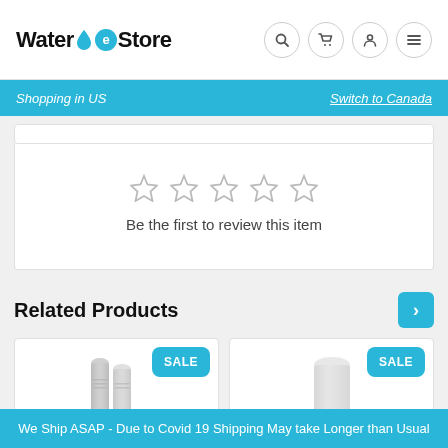Water eStore — Shopping in US | Switch to Canada
Be the first to review this item
Related Products
[Figure (photo): Two silver water filter cartridges with a SALE badge]
[Figure (photo): A white cylindrical water filter with a SALE badge]
We Ship ASAP - Due to Covid 19 Shipping May take Longer than Usual